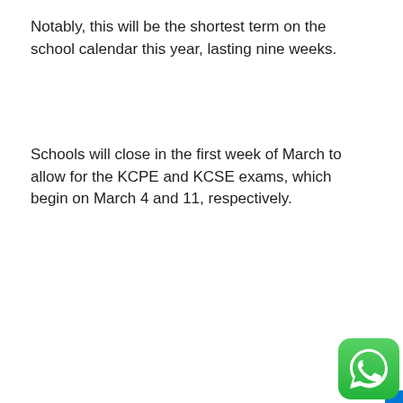Notably, this will be the shortest term on the school calendar this year, lasting nine weeks.
Schools will close in the first week of March to allow for the KCPE and KCSE exams, which begin on March 4 and 11, respectively.
[Figure (logo): WhatsApp logo icon - green rounded square with white phone/chat icon]